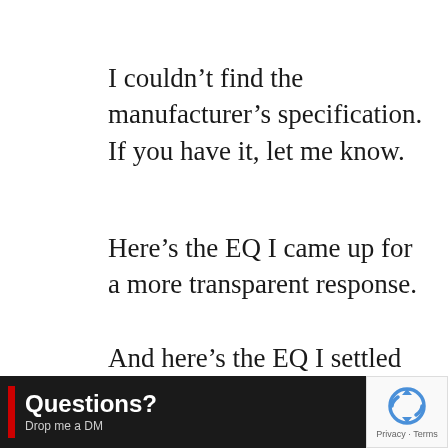I couldn’t find the manufacturer’s specification. If you have it, let me know.
Here’s the EQ I came up for a more transparent response.
And here’s the EQ I settled on after listing on a show. You can download pshots here.